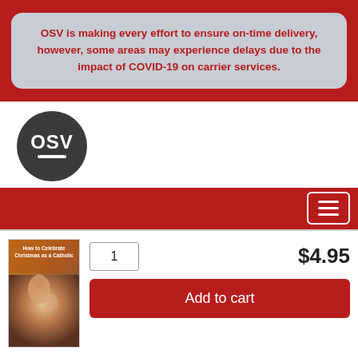OSV is making every effort to ensure on-time delivery, however, some areas may experience delays due to the impact of COVID-19 on carrier services.
[Figure (logo): OSV logo — circular dark gray badge with white text 'OSV' and a white underline]
[Figure (photo): Book cover: 'How to Celebrate Christmas as a Catholic' with a Renaissance painting of Madonna and Child]
1
$4.95
Add to cart